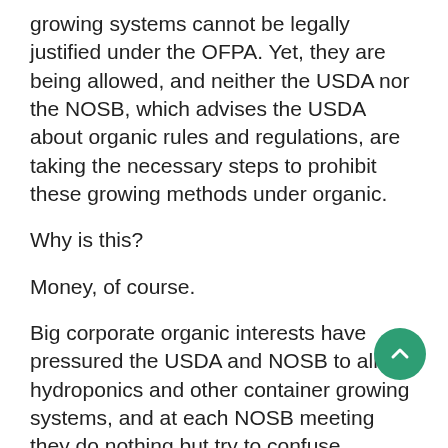growing systems cannot be legally justified under the OFPA. Yet, they are being allowed, and neither the USDA nor the NOSB, which advises the USDA about organic rules and regulations, are taking the necessary steps to prohibit these growing methods under organic.
Why is this?
Money, of course.
Big corporate organic interests have pressured the USDA and NOSB to allow hydroponics and other container growing systems, and at each NOSB meeting they do nothing but try to confuse members as a stall tactic.
They push for more discussion, present more research, roll out more scientific papers, fly in more experts from around the world about what constitutes a container growing system and whether it is nutritionally equivalent to a soil-based system. This has gone on for 10 years